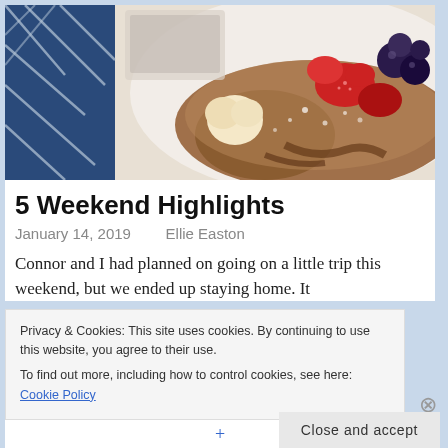[Figure (photo): Overhead food photo showing crepes or pancakes topped with strawberries, blueberries, powdered sugar, and a scoop of ice cream, alongside a blue geometric-patterned cloth and a white plate/tablet.]
5 Weekend Highlights
January 14, 2019   Ellie Easton
Connor and I had planned on going on a little trip this weekend, but we ended up staying home. It
Privacy & Cookies: This site uses cookies. By continuing to use this website, you agree to their use.
To find out more, including how to control cookies, see here: Cookie Policy
Close and accept